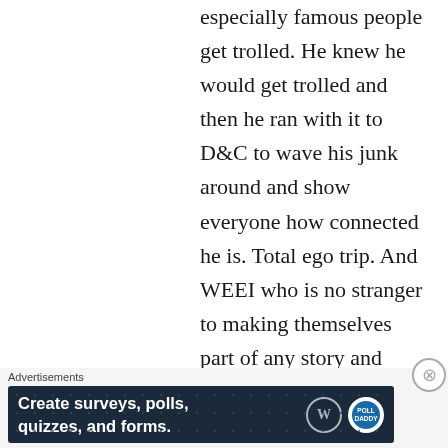especially famous people get trolled. He knew he would get trolled and then he ran with it to D&C to wave his junk around and show everyone how connected he is. Total ego trip. And WEEI who is no stranger to making themselves part of any story and D&C being the kings of trolling and self promotion
Advertisements
[Figure (other): Advertisement banner with dark navy background showing 'Create surveys, polls, quizzes, and forms.' with WordPress and Polldaddy logos on the right.]